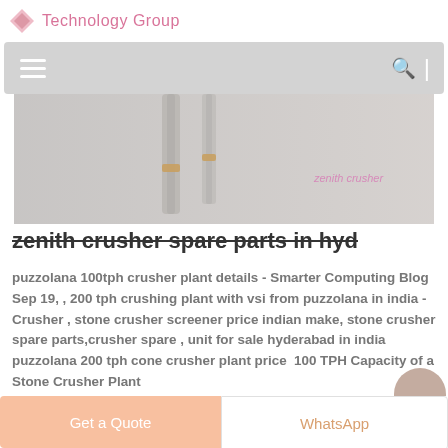Technology Group
[Figure (screenshot): Navigation bar with hamburger menu icon on left, search icon and divider on right, gray semi-transparent background]
[Figure (photo): Close-up photo of industrial crusher/machinery parts with pink watermark text overlay]
zenith crusher spare parts in hyd
puzzolana 100tph crusher plant details - Smarter Computing Blog Sep 19, , 200 tph crushing plant with vsi from puzzolana in india - Crusher , stone crusher screener price indian make, stone crusher spare parts,crusher spare , unit for sale hyderabad in india puzzolana 200 tph cone crusher plant price 100 TPH Capacity of a Stone Crusher Plant
[Figure (other): Partial orange/brown circular element visible at bottom right]
Get a Quote
WhatsApp